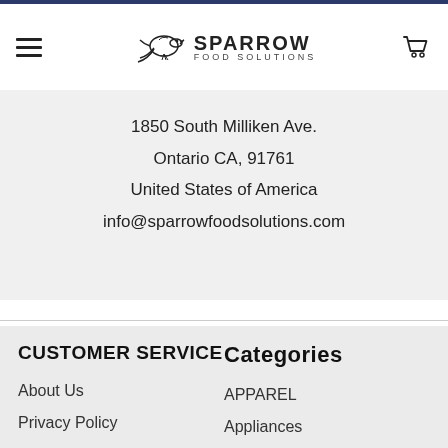[Figure (logo): Sparrow Food Solutions logo with sparrow bird icon and text SPARROW FOOD SOLUTIONS]
1850 South Milliken Ave.
Ontario CA, 91761
United States of America
info@sparrowfoodsolutions.com
CUSTOMER SERVICE
Categories
About Us
APPAREL
Privacy Policy
Appliances
Terms & Conditions
Kitchen
Contact Us
Bakeware